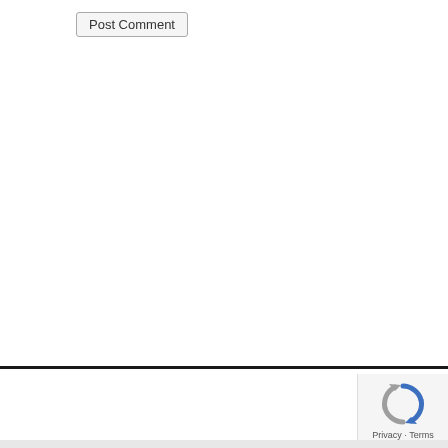Post Comment
RLCRABB
[Figure (logo): reCAPTCHA logo with circular arrows in blue and gray, with 'Privacy · Terms' text below]